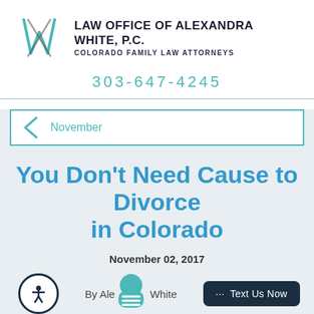[Figure (logo): Law Office of Alexandra White, P.C. logo with stylized W lettermark in teal and firm name in dark bold text]
303-647-4245
November
You Don't Need Cause to Divorce in Colorado
November 02, 2017
By Alexandra White